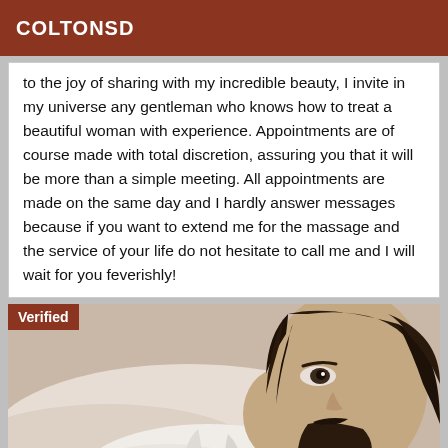COLTONSD
to the joy of sharing with my incredible beauty, I invite in my universe any gentleman who knows how to treat a beautiful woman with experience. Appointments are of course made with total discretion, assuring you that it will be more than a simple meeting. All appointments are made on the same day and I hardly answer messages because if you want to extend me for the massage and the service of your life do not hesitate to call me and I will wait for you feverishly!
[Figure (photo): Photo of a bearded man with long dark hair wearing a white t-shirt, with a 'Verified' badge overlay in the top-left corner]